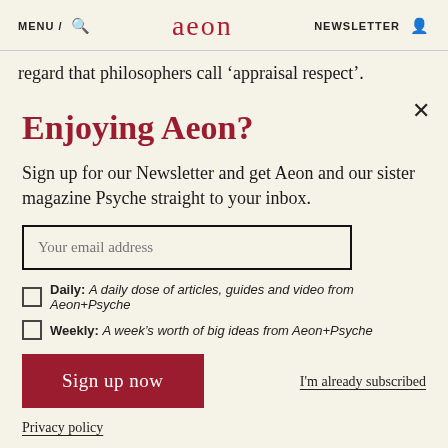MENU / [search icon]  aeon  NEWSLETTER [user icon]
regard that philosophers call ‘appraisal respect’. Appraisal respect is a form of esteem that we have
Enjoying Aeon?
Sign up for our Newsletter and get Aeon and our sister magazine Psyche straight to your inbox.
Your email address
Daily: A daily dose of articles, guides and video from Aeon+Psyche
Weekly: A week’s worth of big ideas from Aeon+Psyche
Sign up now
I'm already subscribed
Privacy policy